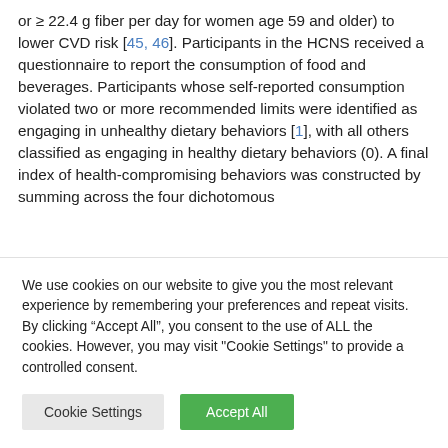or ≥ 22.4 g fiber per day for women age 59 and older) to lower CVD risk [45, 46]. Participants in the HCNS received a questionnaire to report the consumption of food and beverages. Participants whose self-reported consumption violated two or more recommended limits were identified as engaging in unhealthy dietary behaviors [1], with all others classified as engaging in healthy dietary behaviors (0). A final index of health-compromising behaviors was constructed by summing across the four dichotomous
We use cookies on our website to give you the most relevant experience by remembering your preferences and repeat visits. By clicking “Accept All”, you consent to the use of ALL the cookies. However, you may visit "Cookie Settings" to provide a controlled consent.